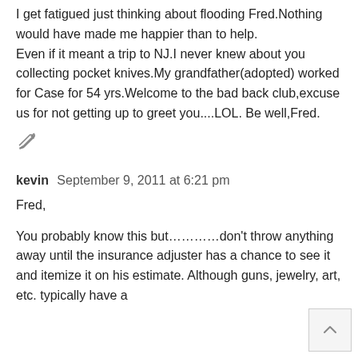I get fatigued just thinking about flooding Fred.Nothing would have made me happier than to help.
Even if it meant a trip to NJ.I never knew about you collecting pocket knives.My grandfather(adopted) worked for Case for 54 yrs.Welcome to the bad back club,excuse us for not getting up to greet you....LOL. Be well,Fred.
[Figure (illustration): Pencil/edit icon]
kevin   September 9, 2011 at 6:21 pm
Fred,
You probably know this but..............don't throw anything away until the insurance adjuster has a chance to see it and itemize it on his estimate. Although guns, jewelry, art, etc. typically have a